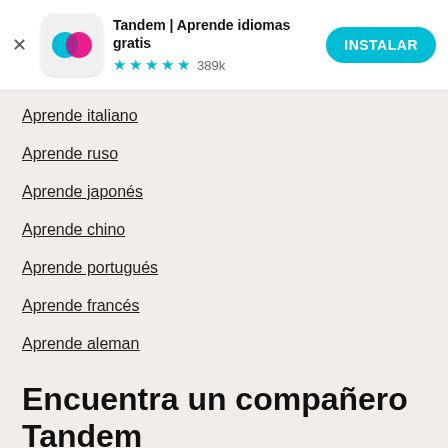[Figure (screenshot): Tandem app banner with icon, name, star rating, and install button]
Aprende italiano
Aprende ruso
Aprende japonés
Aprende chino
Aprende portugués
Aprende francés
Aprende aleman
Encuentra un compañero Tandem